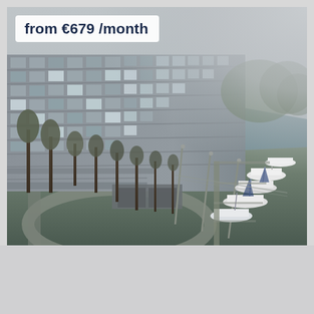[Figure (photo): Aerial view of a large multi-storey apartment building complex with approximately 10 floors, grey concrete facade with balconies and large windows. In the foreground there are bare deciduous trees lining a curved road/path. To the right side, a marina with several white sailboats moored along a dock next to a body of water. The right side of the image fades into fog/mist. The scene appears to be taken on an overcast day in a Dutch city.]
from €679 /month